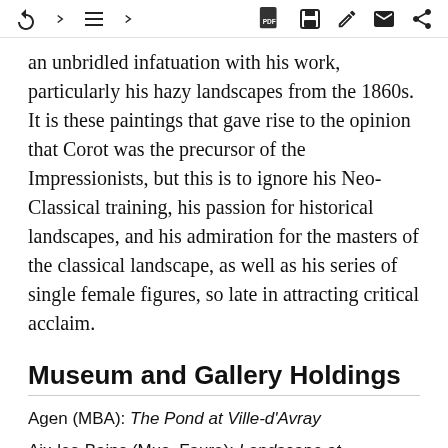[toolbar icons: back, list, PDF, save, edit, mail, share]
an unbridled infatuation with his work, particularly his hazy landscapes from the 1860s. It is these paintings that gave rise to the opinion that Corot was the precursor of the Impressionists, but this is to ignore his Neo-Classical training, his passion for historical landscapes, and his admiration for the masters of the classical landscape, as well as his series of single female figures, so late in attracting critical acclaim.
Museum and Gallery Holdings
Agen (MBA): The Pond at Ville-d'Avray
Aix-les-Bains (Mus. Faure): Landscape at Montgeron